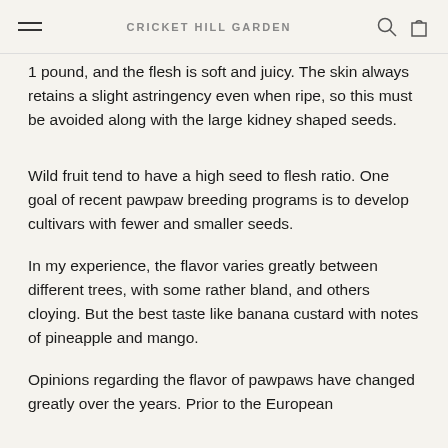CRICKET HILL GARDEN
1 pound, and the flesh is soft and juicy. The skin always retains a slight astringency even when ripe, so this must be avoided along with the large kidney shaped seeds.
Wild fruit tend to have a high seed to flesh ratio. One goal of recent pawpaw breeding programs is to develop cultivars with fewer and smaller seeds.
In my experience, the flavor varies greatly between different trees, with some rather bland, and others cloying. But the best taste like banana custard with notes of pineapple and mango.
Opinions regarding the flavor of pawpaws have changed greatly over the years. Prior to the European...